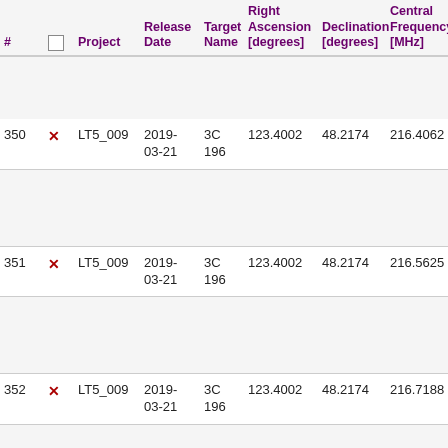| # |  | Project | Release Date | Target Name | Right Ascension [degrees] | Declination [degrees] | Central Frequency [MHz] | Ch Wi... |
| --- | --- | --- | --- | --- | --- | --- | --- | --- |
| 350 | ✗ | LT5_009 | 2019-03-21 | 3C 196 | 123.4002 | 48.2174 | 216.4062 | 122... |
| 351 | ✗ | LT5_009 | 2019-03-21 | 3C 196 | 123.4002 | 48.2174 | 216.5625 | 122... |
| 352 | ✗ | LT5_009 | 2019-03-21 | 3C 196 | 123.4002 | 48.2174 | 216.7188 | 122... |